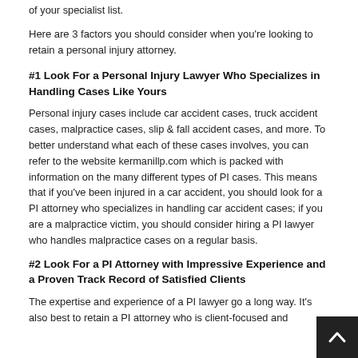of your specialist list.
Here are 3 factors you should consider when you're looking to retain a personal injury attorney.
#1 Look For a Personal Injury Lawyer Who Specializes in Handling Cases Like Yours
Personal injury cases include car accident cases, truck accident cases, malpractice cases, slip & fall accident cases, and more. To better understand what each of these cases involves, you can refer to the website kermanillp.com which is packed with information on the many different types of PI cases. This means that if you've been injured in a car accident, you should look for a PI attorney who specializes in handling car accident cases; if you are a malpractice victim, you should consider hiring a PI lawyer who handles malpractice cases on a regular basis.
#2 Look For a PI Attorney with Impressive Experience and a Proven Track Record of Satisfied Clients
The expertise and experience of a PI lawyer go a long way. It's also best to retain a PI attorney who is client-focused and